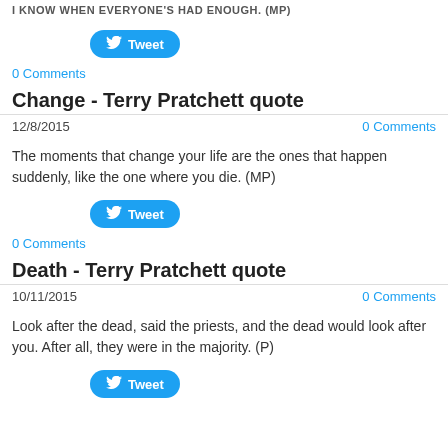I KNOW WHEN EVERYONE'S HAD ENOUGH. (MP)
[Figure (other): Twitter Tweet button]
0 Comments
Change - Terry Pratchett quote
12/8/2015    0 Comments
The moments that change your life are the ones that happen suddenly, like the one where you die. (MP)
[Figure (other): Twitter Tweet button]
0 Comments
Death - Terry Pratchett quote
10/11/2015    0 Comments
Look after the dead, said the priests, and the dead would look after you. After all, they were in the majority. (P)
[Figure (other): Twitter Tweet button]